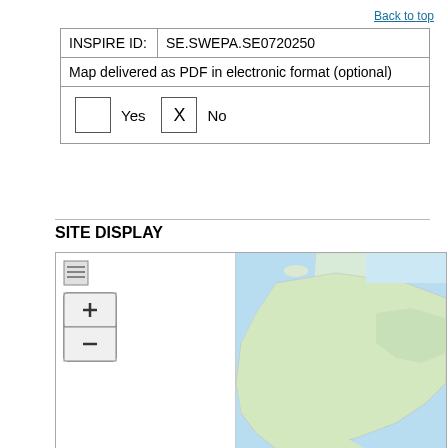Back to top
| INSPIRE ID: | SE.SWEPA.SE0720250 |
| Map delivered as PDF in electronic format (optional) |  |
| [checkbox] Yes  [X] No |  |
SITE DISPLAY
[Figure (map): Interactive map showing North America with zoom controls on the left side and a geographic map view on the right side]